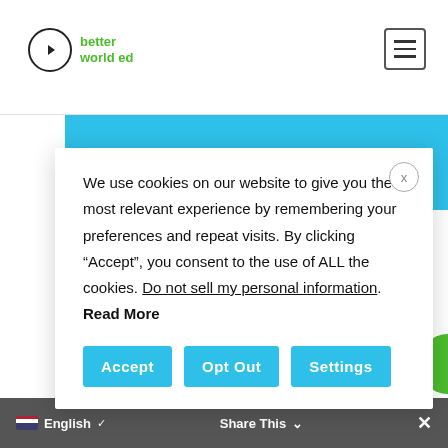better world ed
START YOUR
We use cookies on our website to give you the most relevant experience by remembering your preferences and repeat visits. By clicking “Accept”, you consent to the use of ALL the cookies. Do not sell my personal information. Read More
Accept   Opt Out   Settings
English   Share This   ×